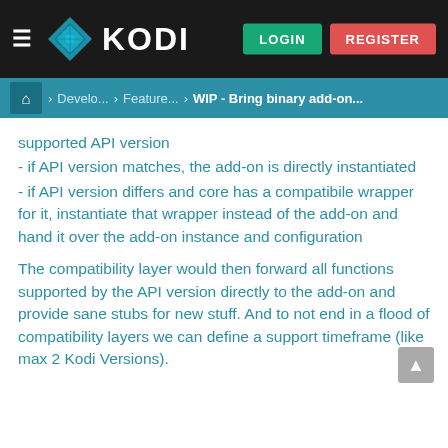KODI — LOGIN REGISTER
Home > Develo... > Feature... > WIP - Bring binary add-on...
supported API version
- if API version matches, the add-on is directly instantiated
- if API version differs and core has a compatibile wrapper for it, instantiate that wrapper instead of the add-on and hand it over the add-on instance and configuration
The compatibility layer would then forward all functions supported by the API version directly to the add-on and provide sane stubs for new stuff. And to not end in a flood of compatibility layers we can define a support timeframe (like max 2 Kodi Versions).